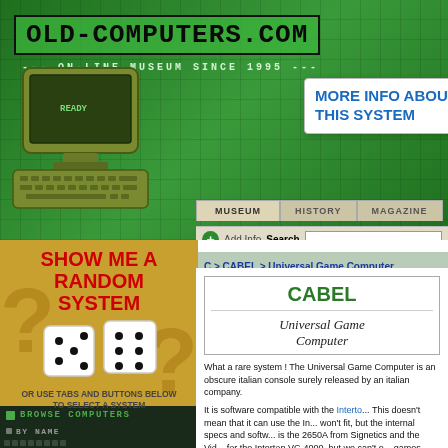OLD-COMPUTERS.COM --- ON-LINE MUSEUM SINCE 1995 ---
[Figure (screenshot): Screenshot of old-computers.com website header with green matrix background, retro computer illustration, MORE INFO ABOUT THIS SYSTEM popup box, navigation tabs (MUSEUM, HISTORY, MAGAZINE), Add Info and Search toolbar, and breadcrumb C > CABEL > Universal Game Computer]
[Figure (illustration): SHOW ME A RANDOM SYSTEM section with dice illustration and question marks on yellow-orange background]
OR USE TABS AND BUTTONS BELOW TO SELECT A SYSTEM
BROWSE COMPUTERS
BY NAME
CABEL
Universal Game Computer
What a rare system ! The Universal Game Computer is an obscure italian console surely released by an italian company.
It is software compatible with the Interton VC-4000. This doesn't mean that it can use the Interton cartridges, they won't fit, but the internal specs and software are the same. The CPU is the 2650A from Signetics and the Video chip is the same as for the Interton VC-4000, but we can't even say how many games were developped for it... For now